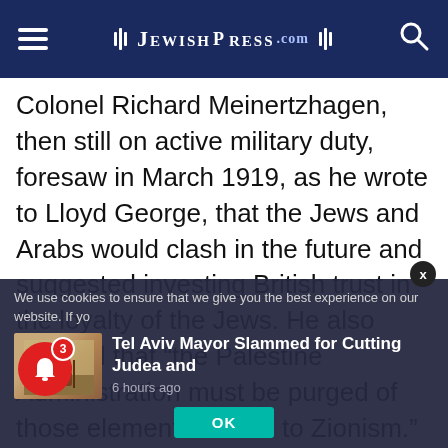JewishPress.com
Colonel Richard Meinertzhagen, then still on active military duty, foresaw in March 1919, as he wrote to Lloyd George, that the Jews and Arabs would clash in the future and suggested investing British trust in the loyalty of the Jews. He also advised that “the Palestine Administration must be purged of those elements hostile to Zionism.” These opinions got him appointed Chief Political Officer in August 1919. By this time, the population of the
We use cookies to ensure that we give you the best experience on our website. If yo
[Figure (screenshot): Thumbnail image showing a figure in a desert landscape]
Tel Aviv Mayor Slammed for Cutting Judea and
6 hours ago